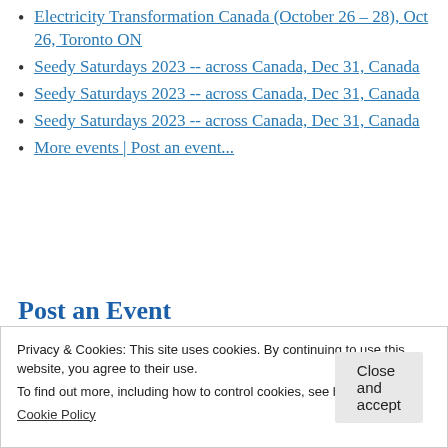Electricity Transformation Canada (October 26 – 28), Oct 26, Toronto ON
Seedy Saturdays 2023 -- across Canada, Dec 31, Canada
Seedy Saturdays 2023 -- across Canada, Dec 31, Canada
Seedy Saturdays 2023 -- across Canada, Dec 31, Canada
More events | Post an event...
Post an Event
Privacy & Cookies: This site uses cookies. By continuing to use this website, you agree to their use.
To find out more, including how to control cookies, see here:
Cookie Policy
Close and accept